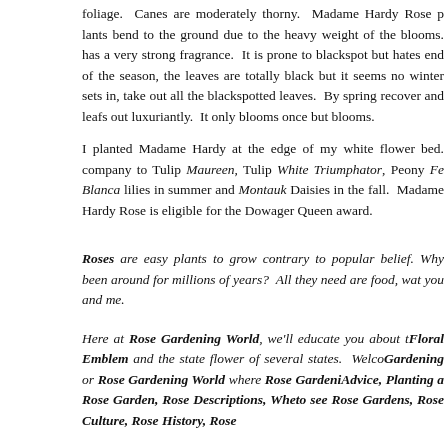foliage. Canes are moderately thorny. Madame Hardy Rose plants bend to the ground due to the heavy weight of the blooms. has a very strong fragrance. It is prone to blackspot but hates end of the season, the leaves are totally black but it seems no winter sets in, take out all the blackspotted leaves. By spring recover and leafs out luxuriantly. It only blooms once but blooms
I planted Madame Hardy at the edge of my white flower bed. company to Tulip Maureen, Tulip White Triumphator, Peony Fe Blanca lilies in summer and Montauk Daisies in the fall. Madame Hardy Rose is eligible for the Dowager Queen award.
Roses are easy plants to grow contrary to popular belief. Why been around for millions of years? All they need are food, water you and me.
Here at Rose Gardening World, we'll educate you about the Floral Emblem and the state flower of several states. Welcome Gardening or Rose Gardening World where Rose Gardening Advice, Planting a Rose Garden, Rose Descriptions, Where to see Rose Gardens, Rose Culture, Rose History, Rose...